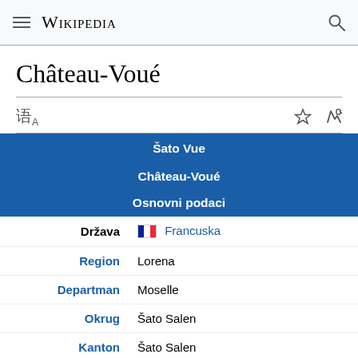Wikipedia
Château-Voué
|  |  |
| --- | --- |
| Šato Vue |  |
| Château-Voué |  |
| Osnovni podaci |  |
| Država | Francuska |
| Region | Lorena |
| Departman | Moselle |
| Okrug | Šato Salen |
| Kanton | Šato Salen |
| Stanovništvo |  |